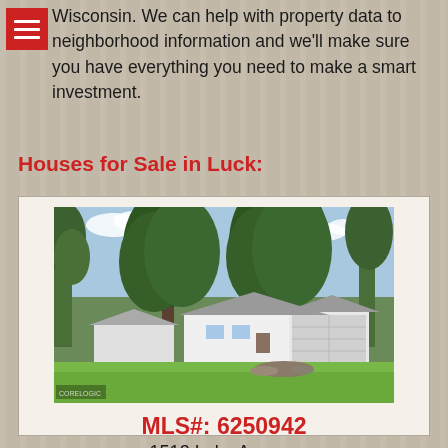Wisconsin. We can help with property data to neighborhood information and we'll make sure you have everything you need to make a smart investment.
Houses for Sale in Luck:
[Figure (photo): Exterior photo of a single-story white ranch-style house with attached garage, large trees in foreground, and green lawn.]
MLS#: 6250942
1513 Lake Avenue